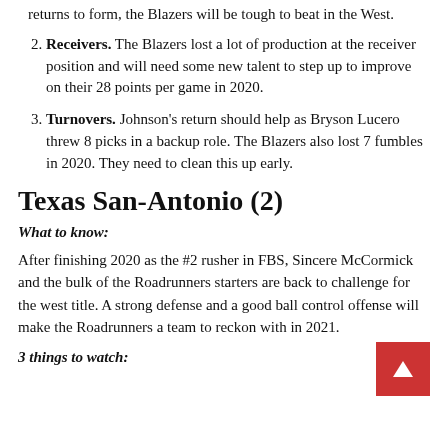returns to form, the Blazers will be tough to beat in the West.
Receivers. The Blazers lost a lot of production at the receiver position and will need some new talent to step up to improve on their 28 points per game in 2020.
Turnovers. Johnson's return should help as Bryson Lucero threw 8 picks in a backup role. The Blazers also lost 7 fumbles in 2020. They need to clean this up early.
Texas San-Antonio (2)
What to know:
After finishing 2020 as the #2 rusher in FBS, Sincere McCormick and the bulk of the Roadrunners starters are back to challenge for the west title. A strong defense and a good ball control offense will make the Roadrunners a team to reckon with in 2021.
3 things to watch: